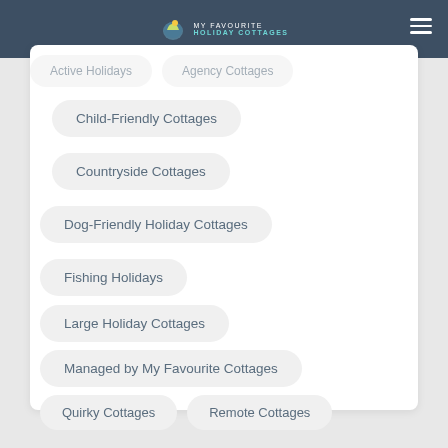My Favourite Holiday Cottages
Active Holidays
Agency Cottages
Child-Friendly Cottages
Countryside Cottages
Dog-Friendly Holiday Cottages
Fishing Holidays
Large Holiday Cottages
Managed by My Favourite Cottages
Quirky Cottages
Remote Cottages
Short Breaks
Walking Holidays